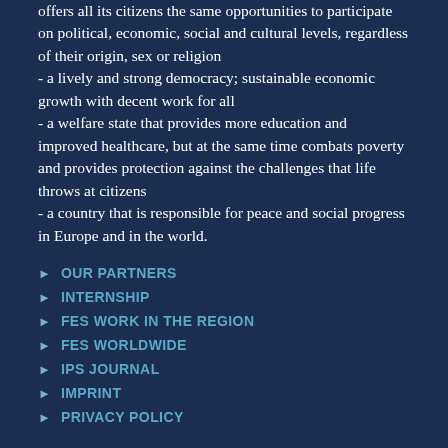offers all its citizens the same opportunities to participate on political, economic, social and cultural levels, regardless of their origin, sex or religion
- a lively and strong democracy; sustainable economic growth with decent work for all
- a welfare state that provides more education and improved healthcare, but at the same time combats poverty and provides protection against the challenges that life throws at citizens
- a country that is responsible for peace and social progress in Europe and in the world.
OUR PARTNERS
INTERNSHIP
FES WORK IN THE REGION
FES WORLDWIDE
IPS JOURNAL
IMPRINT
PRIVACY POLICY